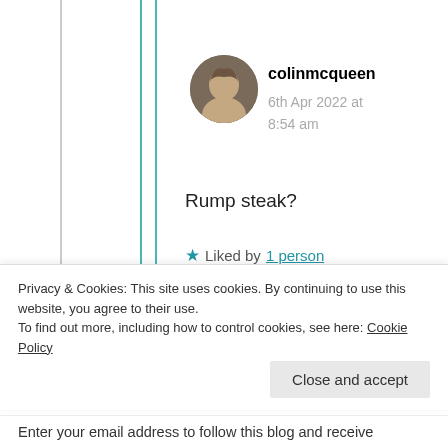colinmcqueen
6th Apr 2022 at 8:54 am
Rump steak?
★ Liked by 1 person
Comments are closed.
Privacy & Cookies: This site uses cookies. By continuing to use this website, you agree to their use.
To find out more, including how to control cookies, see here: Cookie Policy
Close and accept
Enter your email address to follow this blog and receive